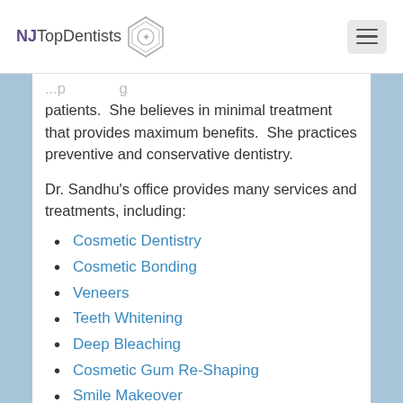NJ TopDentists
patients.  She believes in minimal treatment that provides maximum benefits.  She practices preventive and conservative dentistry.
Dr. Sandhu's office provides many services and treatments, including:
Cosmetic Dentistry
Cosmetic Bonding
Veneers
Teeth Whitening
Deep Bleaching
Cosmetic Gum Re-Shaping
Smile Makeover
Snap-On-Smile